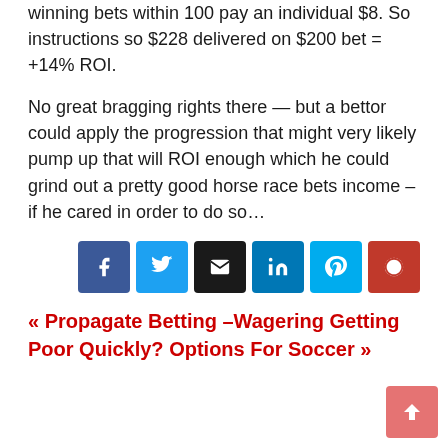winning bets within 100 pay an individual $8. So instructions so $228 delivered on $200 bet = +14% ROI.
No great bragging rights there — but a bettor could apply the progression that might very likely pump up that will ROI enough which he could grind out a pretty good horse race bets income – if he cared in order to do so…
[Figure (other): Social sharing icon buttons: Facebook (dark blue), Twitter (light blue), Email (black), LinkedIn (dark blue), another (light blue), Reddit/other (red)]
« Propagate Betting –Wagering Getting Poor Quickly? Options For Soccer »